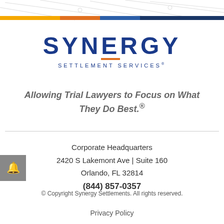[Figure (logo): Synergy Settlement Services logo with SYNERGY in large bold navy blue letters and SETTLEMENT SERVICES in smaller spaced navy letters below]
Allowing Trial Lawyers to Focus on What They Do Best.®
Corporate Headquarters
2420 S Lakemont Ave | Suite 160
Orlando, FL 32814
(844) 857-0357
© Copyright Synergy Settlements. All rights reserved.
Privacy Policy